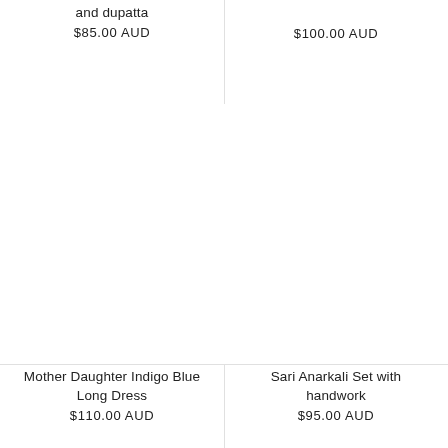and dupatta
$85.00 AUD
$100.00 AUD
[Figure (photo): Product image placeholder for Mother Daughter Indigo Blue Long Dress]
[Figure (photo): Product image placeholder for Sari Anarkali Set with handwork]
Mother Daughter Indigo Blue Long Dress
$110.00 AUD
Sari Anarkali Set with handwork
$95.00 AUD